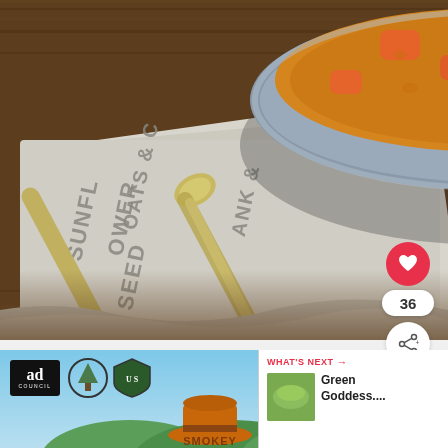[Figure (photo): A bowl of orange/yellow lentil soup with carrot pieces, sitting on a folded linen towel printed with text 'SUNFLOWER', 'OATS & C...', 'SEED', 'ANK &'. A silver ornate spoon rests on the towel. A red circular heart/like button shows, a count badge showing '36', and a share button are overlaid on the bottom right. Below the photo is an advertisement banner for a US Forest Service / Ad Council campaign featuring Smokey Bear's hat and a 'What's Next' panel showing 'Green Goddess...']
36